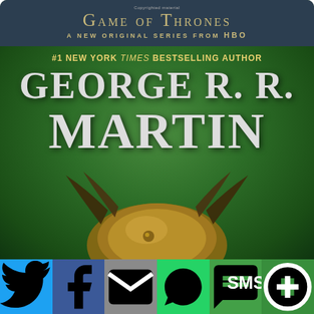[Figure (photo): Book cover of A Game of Thrones by George R.R. Martin. Green background with author name prominently displayed. Top dark banner shows 'Game of Thrones - A New Original Series from HBO'. Text reads '#1 New York Times Bestselling Author' followed by 'George R. R. Martin' in large letters. Bottom portion shows a dragon or helmet illustration.]
[Figure (infographic): Social sharing bar with six buttons: Twitter (blue), Facebook (dark blue), Email (gray), WhatsApp (green), SMS (green), More/share (dark green)]